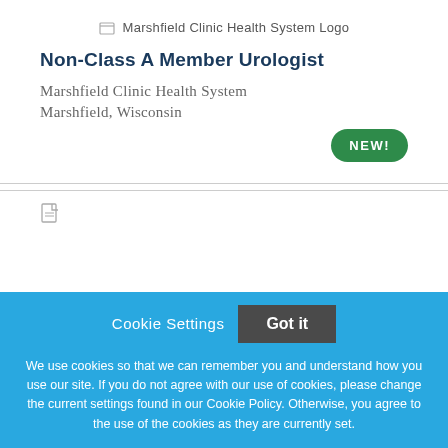[Figure (logo): Marshfield Clinic Health System Logo]
Non-Class A Member Urologist
Marshfield Clinic Health System
Marshfield, Wisconsin
NEW!
Cookie Settings  Got it
We use cookies so that we can remember you and understand how you use our site. If you do not agree with our use of cookies, please change the current settings found in our Cookie Policy. Otherwise, you agree to the use of the cookies as they are currently set.